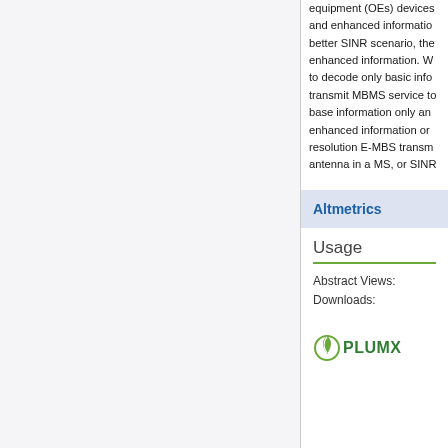equipment (OEs) devices and enhanced information better SINR scenario, the enhanced information. W to decode only basic info transmit MBMS service to base information only and enhanced information or resolution E-MBS transm antenna in a MS, or SINR
Altmetrics
Usage
Abstract Views:
Downloads:
[Figure (logo): PlumX Metrics logo showing a circular leaf icon in green with 'PLUMX' text in dark green/teal]